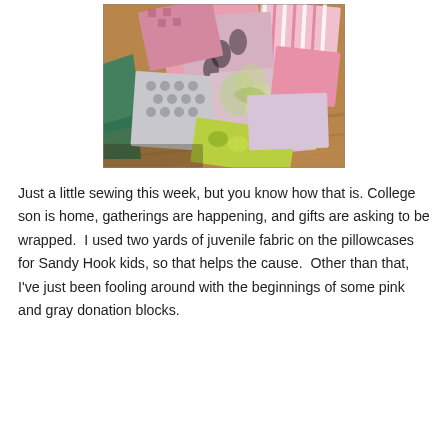[Figure (photo): A collection of pink, gray, white, and patterned fabric scraps piled on a wooden table surface. Fabrics include floral, striped, polka dot, and solid patterns in pink and gray tones.]
Just a little sewing this week, but you know how that is. College son is home, gatherings are happening, and gifts are asking to be wrapped.  I used two yards of juvenile fabric on the pillowcases for Sandy Hook kids, so that helps the cause.  Other than that, I've just been fooling around with the beginnings of some pink and gray donation blocks.